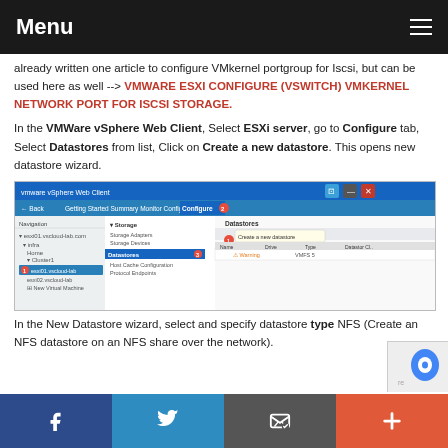Menu
already written one article to configure VMkernel portgroup for Iscsi, but can be used here as well --> VMWARE ESXI CONFIGURE (VSWITCH) VMKERNEL NETWORK PORT FOR ISCSI STORAGE.
In the VMWare vSphere Web Client, Select ESXi server, go to Configure tab, Select Datastores from list, Click on Create a new datastore. This opens new datastore wizard.
[Figure (screenshot): VMware vSphere Web Client screenshot showing the Configure tab with Datastores selected and 'Create a new datastore' tooltip visible]
In the New Datastore wizard, select and specify datastore type NFS (Create an NFS datastore on an NFS share over the network).
Facebook | Twitter | Email | Plus